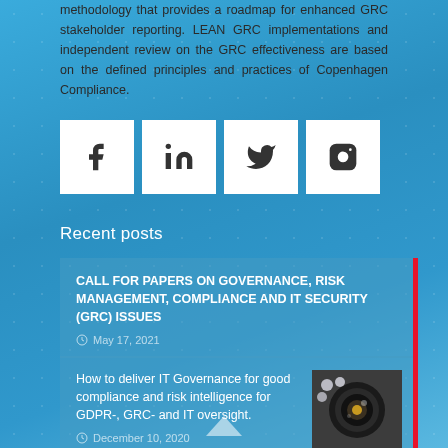methodology that provides a roadmap for enhanced GRC stakeholder reporting. LEAN GRC implementations and independent review on the GRC effectiveness are based on the defined principles and practices of Copenhagen Compliance.
[Figure (infographic): Four social media icon boxes: Facebook (f), LinkedIn (in), Twitter bird, Instagram camera]
Recent posts
CALL FOR PAPERS ON GOVERNANCE, RISK MANAGEMENT, COMPLIANCE AND IT SECURITY (GRC) ISSUES
May 17, 2021
How to deliver IT Governance for good compliance and risk intelligence for GDPR-, GRC- and IT oversight.
December 10, 2020
[Figure (photo): Close-up photo of a camera lens or optical device with metallic/glass elements]